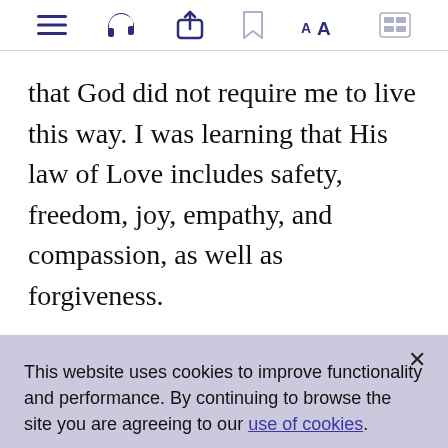[toolbar icons: menu, headphones, share, bookmark, AA, captions]
that God did not require me to live this way. I was learning that His law of Love includes safety, freedom, joy, empathy, and compassion, as well as forgiveness.
This website uses cookies to improve functionality and performance. By continuing to browse the site you are agreeing to our use of cookies.
I ACCEPT